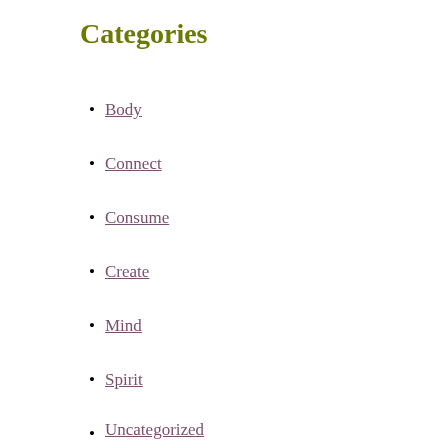Categories
Body
Connect
Consume
Create
Mind
Spirit
Uncategorized
Archives
This website uses cookies to ensure you get the best experience on our website.
Learn more
Tags
Got it!
#WATWB  100 Untimed Books  A-to-Z Blogging